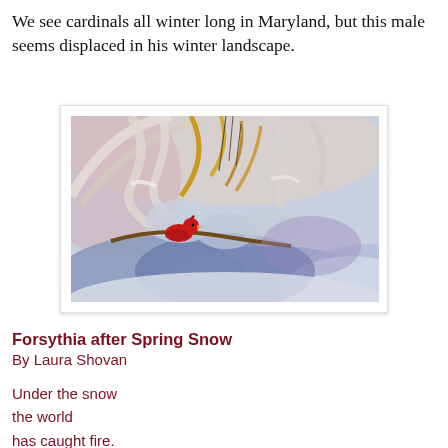We see cardinals all winter long in Maryland, but this male seems displaced in his winter landscape.
[Figure (illustration): A painting showing a red cardinal bird perched amid snow-covered forsythia branches with blue and golden hues, by an unspecified artist, depicting a winter/spring snow scene.]
Forsythia after Spring Snow
By Laura Shovan
Under the snow
the world
has caught fire.
A cardinal, red
as tandoori spice,